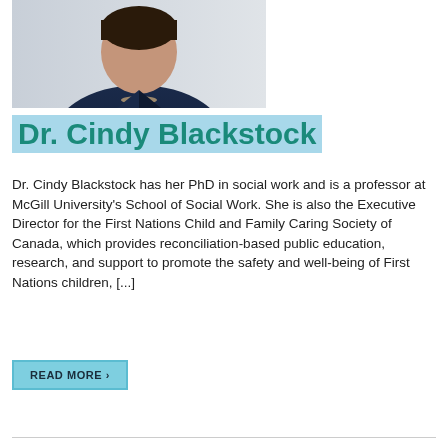[Figure (photo): Portrait photo of Dr. Cindy Blackstock wearing a navy blue blazer and necklace against a light background]
Dr. Cindy Blackstock
Dr. Cindy Blackstock has her PhD in social work and is a professor at McGill University's School of Social Work. She is also the Executive Director for the First Nations Child and Family Caring Society of Canada, which provides reconciliation-based public education, research, and support to promote the safety and well-being of First Nations children, [...]
READ MORE >